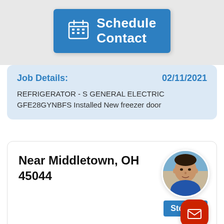[Figure (screenshot): Blue 'Schedule Contact' button with calendar icon]
Job Details:
02/11/2021
REFRIGERATOR - S GENERAL ELECTRIC GFE28GYNBFS Installed New freezer door
Near Middletown, OH 45044
[Figure (photo): Circular profile photo of technician Steve G, a man in a blue shirt]
Steve G